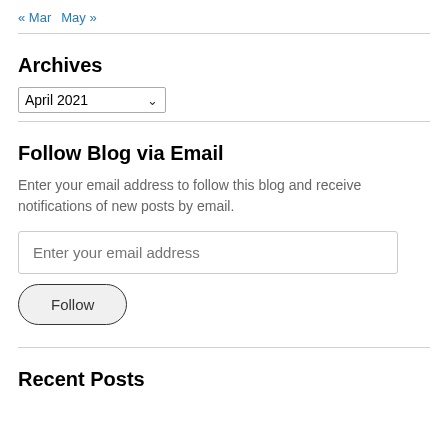« Mar   May »
Archives
April 2021
Follow Blog via Email
Enter your email address to follow this blog and receive notifications of new posts by email.
Enter your email address
Follow
Recent Posts